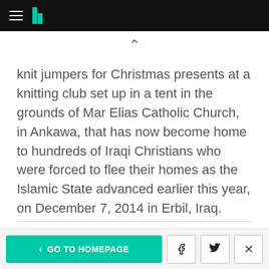HuffPost navigation bar with hamburger menu and logo
knit jumpers for Christmas presents at a knitting club set up in a tent in the grounds of Mar Elias Catholic Church, in Ankawa, that has now become home to hundreds of Iraqi Christians who were forced to flee their homes as the Islamic State advanced earlier this year, on December 7, 2014 in Erbil, Iraq.
< GO TO HOMEPAGE | Facebook | Twitter | X